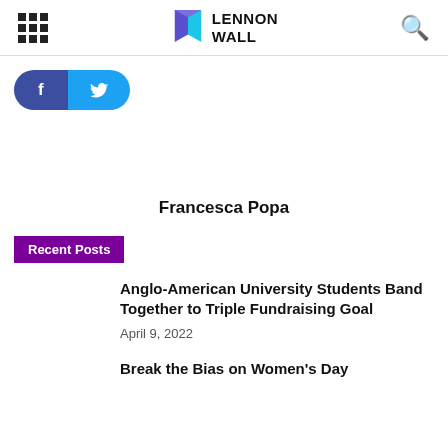Lennon Wall — navigation header with hamburger menu, logo, search icon
[Figure (screenshot): Social share buttons: Facebook (dark blue) and Twitter (light blue) side by side in a pill shape]
Francesca Popa
Recent Posts
Anglo-American University Students Band Together to Triple Fundraising Goal
April 9, 2022
Break the Bias on Women's Day